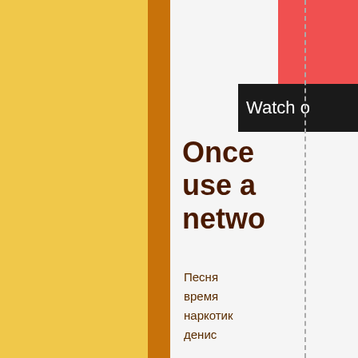[Figure (screenshot): Yellow textured left panel, orange vertical bar, white crumpled paper background, red block top right, black bar with 'Watch o' text, dashed vertical line]
Once use a netwo
Песня
время
наркотик
денис
Flash для
tor browser
hidra